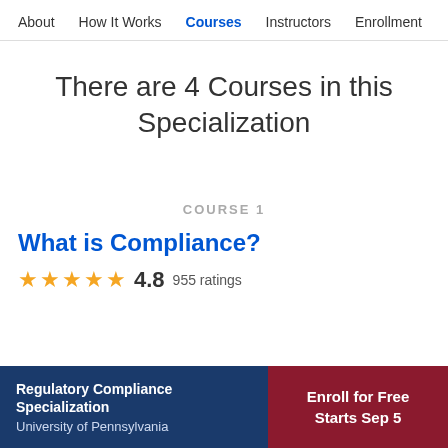About  How It Works  Courses  Instructors  Enrollment
There are 4 Courses in this Specialization
COURSE 1
What is Compliance?
4.8  955 ratings
Regulatory Compliance Specialization
University of Pennsylvania
Enroll for Free
Starts Sep 5